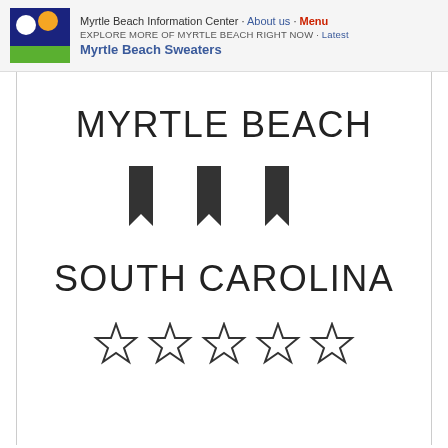Myrtle Beach Information Center · About us · Menu | EXPLORE MORE OF MYRTLE BEACH RIGHT NOW · Latest | Myrtle Beach Sweaters
MYRTLE BEACH
[Figure (illustration): Three dark bookmark/pennant icons side by side]
SOUTH CAROLINA
[Figure (illustration): Five empty star rating icons in a row]